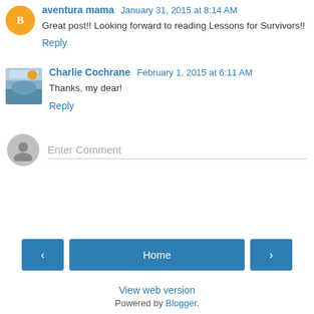aventura mama January 31, 2015 at 8:14 AM
Great post!! Looking forward to reading Lessons for Survivors!!
Reply
Charlie Cochrane February 1, 2015 at 6:11 AM
Thanks, my dear!
Reply
Enter Comment
Home
View web version
Powered by Blogger.